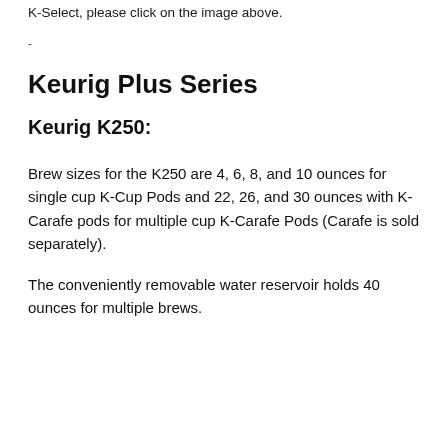K-Select, please click on the image above.
-
Keurig Plus Series
Keurig K250:
Brew sizes for the K250 are 4, 6, 8, and 10 ounces for single cup K-Cup Pods and 22, 26, and 30 ounces with K-Carafe pods for multiple cup K-Carafe Pods (Carafe is sold separately).
The conveniently removable water reservoir holds 40 ounces for multiple brews.